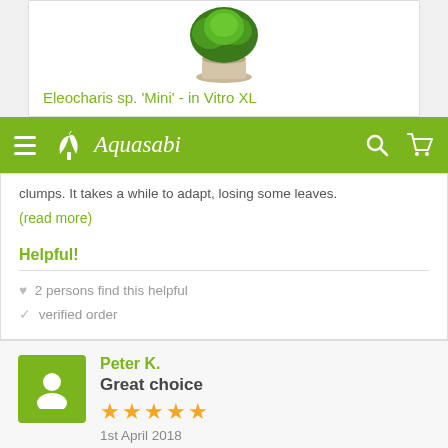[Figure (photo): Product image of Eleocharis sp. 'Mini' - in Vitro XL plant in a round container with green grass-like plant on top]
Eleocharis sp. 'Mini' - in Vitro XL
[Figure (screenshot): Aquasabi website navigation bar with hamburger menu, logo, search and cart icons on green background]
clumps. It takes a while to adapt, losing some leaves.
(read more)
Helpful!
♥ 2 persons find this helpful
✓ verified order
Peter K.
Great choice
1st April 2018